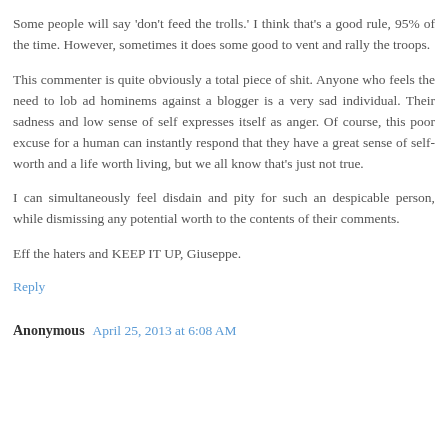Some people will say 'don't feed the trolls.' I think that's a good rule, 95% of the time. However, sometimes it does some good to vent and rally the troops.
This commenter is quite obviously a total piece of shit. Anyone who feels the need to lob ad hominems against a blogger is a very sad individual. Their sadness and low sense of self expresses itself as anger. Of course, this poor excuse for a human can instantly respond that they have a great sense of self-worth and a life worth living, but we all know that's just not true.
I can simultaneously feel disdain and pity for such an despicable person, while dismissing any potential worth to the contents of their comments.
Eff the haters and KEEP IT UP, Giuseppe.
Reply
Anonymous April 25, 2013 at 6:08 AM